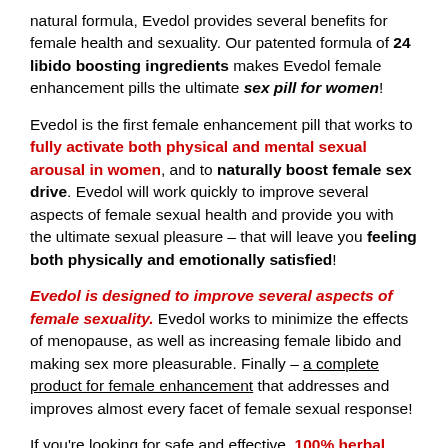natural formula, Evedol provides several benefits for female health and sexuality. Our patented formula of 24 libido boosting ingredients makes Evedol female enhancement pills the ultimate sex pill for women!
Evedol is the first female enhancement pill that works to fully activate both physical and mental sexual arousal in women, and to naturally boost female sex drive. Evedol will work quickly to improve several aspects of female sexual health and provide you with the ultimate sexual pleasure – that will leave you feeling both physically and emotionally satisfied!
Evedol is designed to improve several aspects of female sexuality. Evedol works to minimize the effects of menopause, as well as increasing female libido and making sex more pleasurable. Finally – a complete product for female enhancement that addresses and improves almost every facet of female sexual response!
If you're looking for safe and effective, 100% herbal